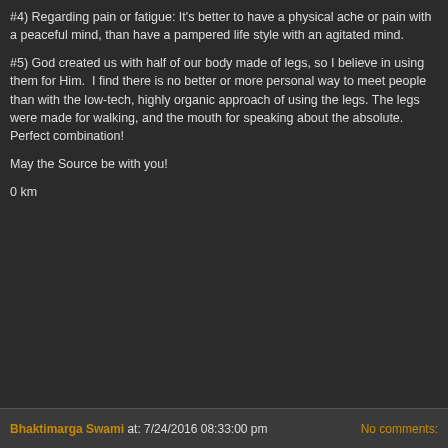#4) Regarding pain or fatigue: It's better to have a physical ache or pain with a peaceful mind, than have a pampered life style with an agitated mind.
#5) God created us with half of our body made of legs, so I believe in using them for Him.  I find there is no better or more personal way to meet people than with the low-tech, highly organic approach of using the legs. The legs were made for walking, and the mouth for speaking about the absolute.  Perfect combination!
May the Source be with you!
0 km
Bhaktimarga Swami at: 7/24/2016 08:33:00 pm   No comments: